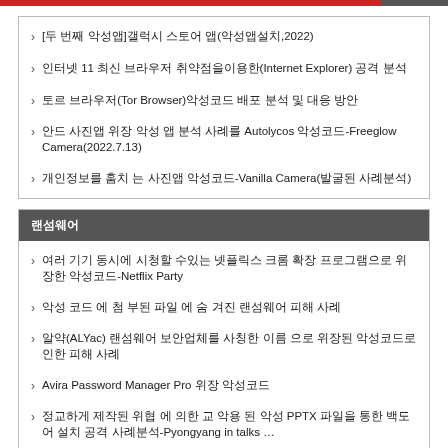[두 번째 악성앱]갤럭시 스토어 앱(악성앱설치,2022)
인터넷 11 최신 브라우저 취약점을이용한(Internet Explorer) 공격 분석
토르 브라우저(Tor Browser)악성코드 배포 분석 및 대응 방안
안드 사진앱 위장 악성 앱 분석 사례를 Autolycos 악성코드-Freeglow Camera(2022.7.13)
개인정보를 훔치 는 사진앱 악성코드-Vanilla Camera(발굴된 사례분석)
랜섬웨어
여러 기기 동시에 시청할 수있는 넷플릭스 크롬 확장 프로그램으로 위장한 악성코드-Netflix Party
악성 코드 에 첨 부된 파일 에 숨 겨진 랜섬웨어 피해 사례
알약(ALYac) 랜섬웨어 보안업체를 사칭한 이름 으로 위장된 악성코드로 인한 피해 사례
Avira Password Manager Pro 위장 악성코드
정교하게 제작된 위협 에 의한 교 악용 된 악성 PPTX 파일을 통한 백도어 설치 공격 사례분석-Pyongyang in talks …
모바일악성